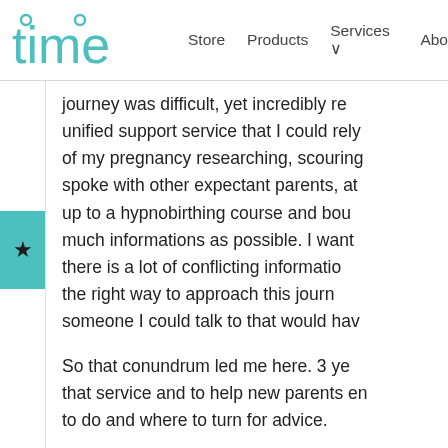time | Store | Products | Services | About
journey was difficult, yet incredibly re... unified support service that I could rely... of my pregnancy researching, scouring... spoke with other expectant parents, at... up to a hypnobirthing course and bou... much informations as possible. I want... there is a lot of conflicting information... the right way to approach this jour... someone I could talk to that would hav...
So that conundrum led me here. 3 ye... that service and to help new parents e... to do and where to turn for advice.